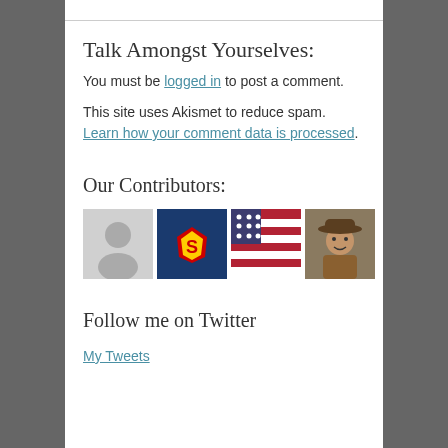Talk Amongst Yourselves:
You must be logged in to post a comment.
This site uses Akismet to reduce spam. Learn how your comment data is processed.
Our Contributors:
[Figure (photo): Four contributor avatar images: a grey silhouette placeholder, Superman costume photo, American flag photo, and a person in a cowboy hat]
Follow me on Twitter
My Tweets